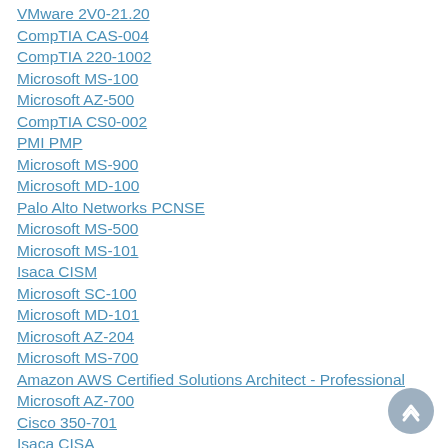VMware 2V0-21.20
CompTIA CAS-004
CompTIA 220-1002
Microsoft MS-100
Microsoft AZ-500
CompTIA CS0-002
PMI PMP
Microsoft MS-900
Microsoft MD-100
Palo Alto Networks PCNSE
Microsoft MS-500
Microsoft MS-101
Isaca CISM
Microsoft SC-100
Microsoft MD-101
Microsoft AZ-204
Microsoft MS-700
Amazon AWS Certified Solutions Architect - Professional
Microsoft AZ-700
Cisco 350-701
Isaca CISA